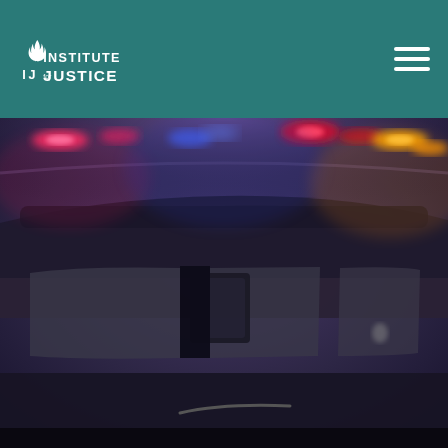Institute for Justice
[Figure (photo): Blurred photo of a police car from behind, showing the rear window and emergency flashing lights (red, blue, yellow/orange) on the light bar on top of the vehicle]